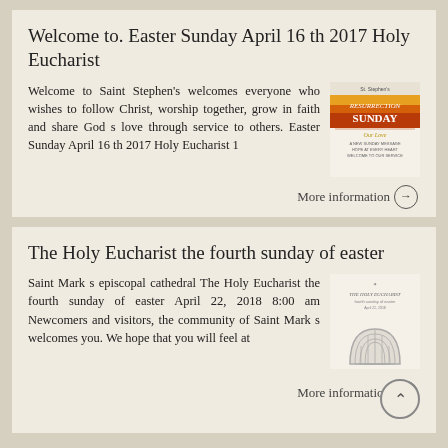Welcome to. Easter Sunday April 16 th 2017 Holy Eucharist
Welcome to Saint Stephen's welcomes everyone who wishes to follow Christ, worship together, grow in faith and share God s love through service to others. Easter Sunday April 16 th 2017 Holy Eucharist 1
[Figure (illustration): Thumbnail image of a 'Resurrection Sunday' bulletin cover with orange/red sunrise design and decorative text below]
More information →
The Holy Eucharist the fourth sunday of easter
Saint Mark s episcopal cathedral The Holy Eucharist the fourth sunday of easter April 22, 2018 8:00 am Newcomers and visitors, the community of Saint Mark s welcomes you. We hope that you will feel at
[Figure (illustration): Thumbnail image of The Holy Eucharist bulletin cover with a semi-circular fan/arch window design in gray]
More information →